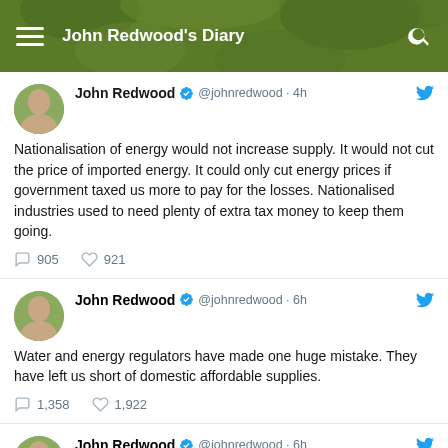John Redwood's Diary
John Redwood @johnredwood · 4h
Nationalisation of energy would not increase supply. It would not cut the price of imported energy. It could only cut energy prices if government taxed us more to pay for the losses. Nationalised industries used to need plenty of extra tax money to keep them going.
905  921
John Redwood @johnredwood · 6h
Water and energy regulators have made one huge mistake. They have left us short of domestic affordable supplies.
1,358  1,922
John Redwood @johnredwood · 6h
The universal roll out of smart electricity meters